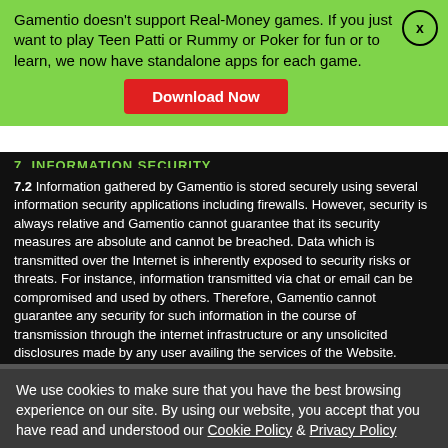Gamentio doesn't support Real-Money games. If you just want to play Teen Patti or Rummy or Poker for fun or to learn, we now have standalone apps for each game.
Download Now
7. INFORMATION SECURITY
7.2 Information gathered by Gamentio is stored securely using several information security applications including firewalls. However, security is always relative and Gamentio cannot guarantee that its security measures are absolute and cannot be breached. Data which is transmitted over the Internet is inherently exposed to security risks or threats. For instance, information transmitted via chat or email can be compromised and used by others. Therefore, Gamentio cannot guarantee any security for such information in the course of transmission through the internet infrastructure or any unsolicited disclosures made by any user availing the services of the Website.
We use cookies to make sure that you have the best browsing experience on our site. By using our website, you accept that you have read and understood our Cookie Policy & Privacy Policy
Got it!